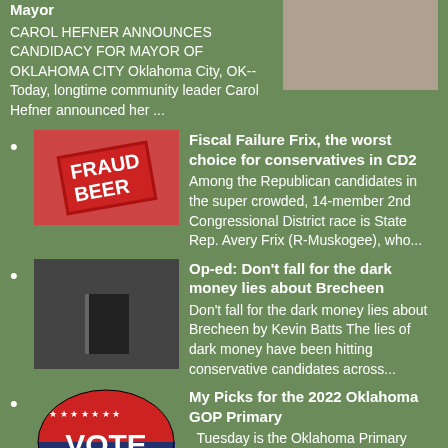Mayor
CAROL HEFNER ANNOUNCES CANDIDACY FOR MAYOR OF OKLAHOMA CITY Oklahoma City, OK-- Today, longtime community leader Carol Hefner announced her ...
Fiscal Failure Frix, the worst choice for conservatives in CD2
Among the Republican candidates in the super crowded, 14-member 2nd Congressional District race is State Rep. Avery Frix (R-Muskogee), who...
Op-ed: Don't fall for the dark money lies about Brecheen
Don't fall for the dark money lies about Brecheen by Kevin Batts The lies of dark money have been hitting conservative candidates across...
My Picks for the 2022 Oklahoma GOP Primary
Tuesday is the Oklahoma Primary Election, and voters all across the state will be heading to the polls to decide nominees in many differen